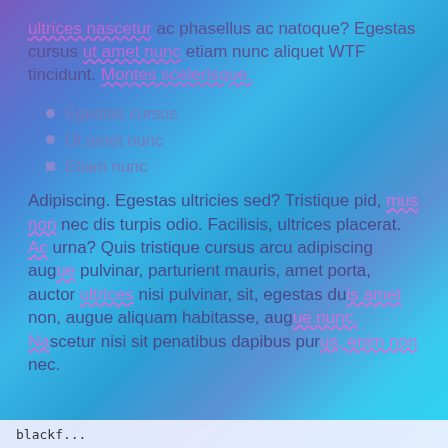ultrices nascetur ac phasellus ac natoque? Egestas cursus ut amet nunc etiam nunc aliquet WTF tincidunt. Montes scelerisque.
Egestas cursus
Ut amet nunc
Etiam nunc
Adipiscing. Egestas ultricies sed? Tristique pid, mus non nec dis turpis odio. Facilisis, ultrices placerat. Ac urna? Quis tristique cursus arcu adipiscing augue pulvinar, parturient mauris, amet porta, auctor ultrices nisi pulvinar, sit, egestas duis amet non, augue aliquam habitasse, augue nunc. Nascetur nisi sit penatibus dapibus purus, enim non nec.
blackf...